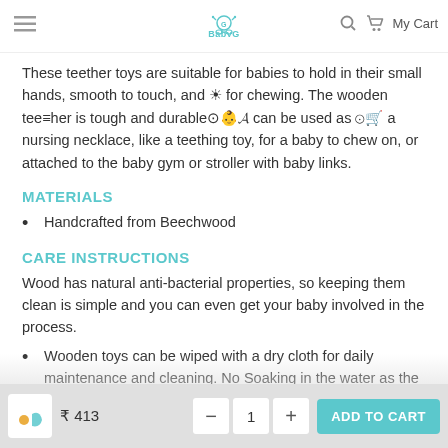BabyG — My Cart
These teether toys are suitable for babies to hold in their small hands, smooth to touch, and safe for chewing. The wooden teether is tough and durable and can be used as a pendant for a nursing necklace, like a teething toy, for a baby to chew on, or attached to the baby gym or stroller with baby links.
MATERIALS
Handcrafted from Beechwood
CARE INSTRUCTIONS
Wood has natural anti-bacterial properties, so keeping them clean is simple and you can even get your baby involved in the process.
Wooden toys can be wiped with a dry cloth for daily maintenance and cleaning. No Soaking in the water as the wood can soak up the water which can gradually lead to cracks.
Do not leave them in direct sunlight. Sunlight can cause the colors to fade
You can moisturize wooden toys when it starts to look dry or dull. Coconut oil or olive oil can be applied
₹ 413   −  1  +   ADD TO CART